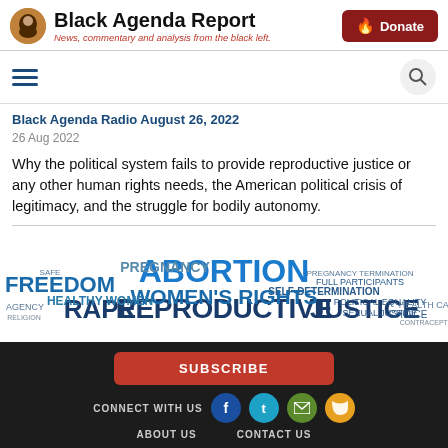Black Agenda Report — News, commentary and analysis from the black left.
Black Agenda Radio August 26, 2022
26 Aug 2022
Why the political system fails to provide reproductive justice or any other human rights needs, the American political crisis of legitimacy, and the struggle for bodily autonomy.
[Figure (illustration): Word cloud featuring reproductive justice terms: ABORTION (large, blue), WOMEN'S RIGHTS (large, blue), REPRODUCTIVE JUSTICE (large, dark blue), FREEDOM (medium, blue), PREGNANCY, SELF-DETERMINATION, FULL PARTICIPANTS, HEALTHY WOMEN, POLITICAL EQUALITY, SEXUAL JUSTICE, RAPE, CHOICE, HEALTH CARE, CONTRACEPTION, AGENCY, and other related words in various sizes and blues/grays.]
SUBSCRIBE | CONNECT WITH US | ABOUT US | CONTACT US